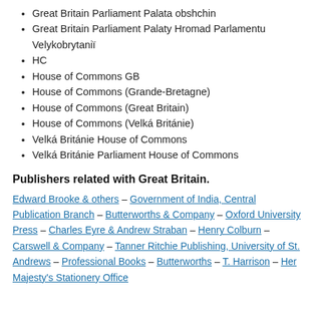Great Britain Parliament Palata obshchin
Great Britain Parliament Palaty Hromad Parlamentu Velykobrytanii
HC
House of Commons GB
House of Commons (Grande-Bretagne)
House of Commons (Great Britain)
House of Commons (Velká Británie)
Velká Británie House of Commons
Velká Británie Parliament House of Commons
Publishers related with Great Britain.
Edward Brooke & others – Government of India, Central Publication Branch – Butterworths & Company – Oxford University Press – Charles Eyre & Andrew Straban – Henry Colburn – Carswell & Company – Tanner Ritchie Publishing, University of St. Andrews – Professional Books – Butterworths – T. Harrison – Her Majesty's Stationery Office